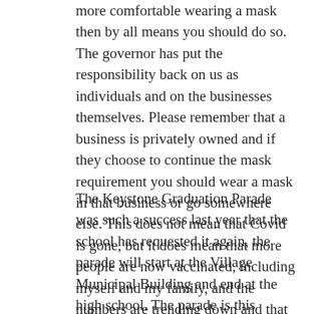more comfortable wearing a mask then by all means you should do so. The governor has put the responsibility back on us as individuals and on the businesses themselves. Please remember that a business is privately owned and if they choose to continue the mask requirement you should wear a mask in that business or go somewhere else. This does not mean that Covid is gone, but it does mean that more people are now vaccinated, including myself and my family, and the numbers are trending down and that is a good thing.
The Keystone Graduation Parade was such a success last year that the school has requested it again, the parade will start at the Village Municipal Building and end at the high school. The parade is this Sunday May 16 at 6:30 and should be completed around 7:30. Please come out and give these seniors